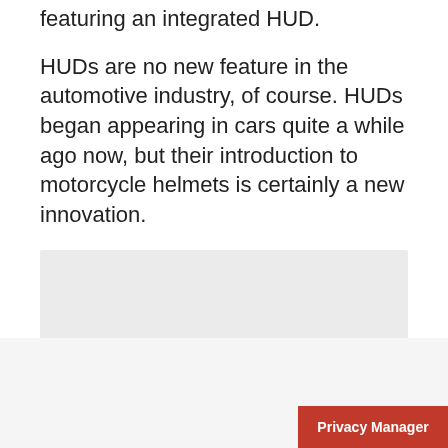featuring an integrated HUD.
HUDs are no new feature in the automotive industry, of course. HUDs began appearing in cars quite a while ago now, but their introduction to motorcycle helmets is certainly a new innovation.
[Figure (other): Grey placeholder image box]
Privacy Manager